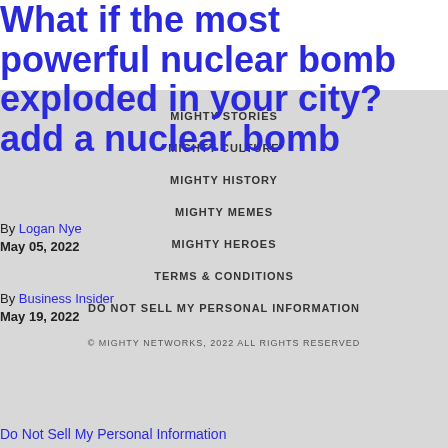What if the most powerful nuclear bomb exploded in your city? add a nuclear bomb
MIGHTY STORIES
MIGHTY CULTURE
MIGHTY HISTORY
MIGHTY MEMES
MIGHTY HEROES
TERMS & CONDITIONS
DO NOT SELL MY PERSONAL INFORMATION
By Logan Nye
May 05, 2022
By Business Insider
May 19, 2022
© MIGHTY NETWORKS, 2022 ALL RIGHTS RESERVED
Do Not Sell My Personal Information